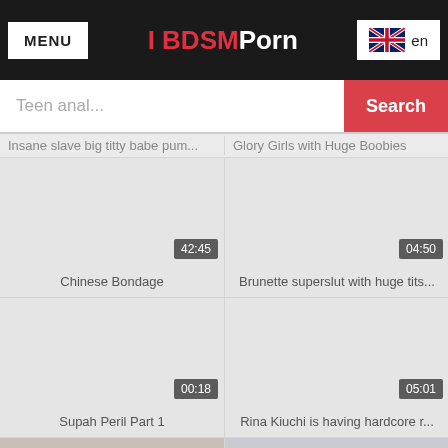MENU | I BDSMPorn | en
Teen anal...
Search
Insane slave big titty babe pum...
Glory Girls with Huge Boobies
[Figure (photo): Video thumbnail placeholder - Chinese Bondage, duration 42:45]
[Figure (photo): Video thumbnail placeholder - Brunette superslut with huge tits..., duration 04:50]
Chinese Bondage
Brunette superslut with huge tits...
[Figure (photo): Video thumbnail placeholder - Supah Peril Part 1, duration 00:18]
[Figure (photo): Video thumbnail placeholder - Rina Kiuchi is having hardcore r..., duration 05:01]
Supah Peril Part 1
Rina Kiuchi is having hardcore r...
[Figure (photo): Partial video thumbnail at bottom left]
[Figure (photo): Partial video thumbnail at bottom right]